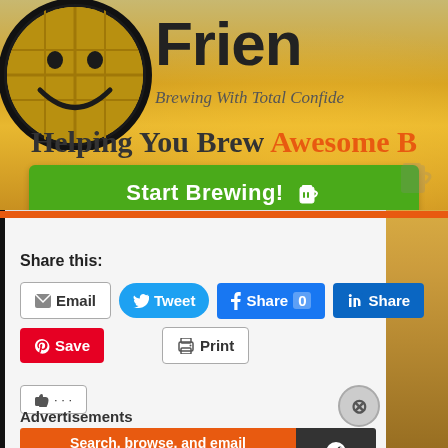[Figure (illustration): Website header with logo (smiley face with brewing globe), site name 'Frien...' partially visible, tagline 'Brewing With Total Confide...' and a green 'Start Brewing!' button. Below is an orange divider bar.]
Helping You Brew Awesome B
Share this:
Email
Tweet
Share 0
Share
Save
Print
Advertisements
[Figure (infographic): DuckDuckGo advertisement banner: orange left side reads 'Search, browse, and email with more privacy. All in One Free App', dark right side shows DuckDuckGo duck logo and brand name.]